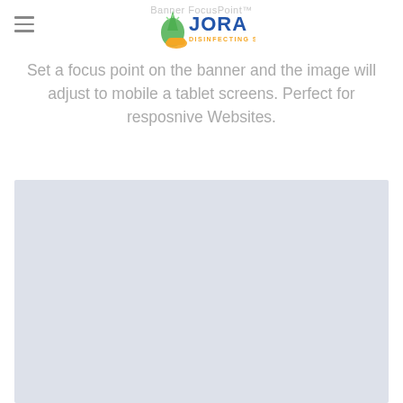Banner FocusPoint™
[Figure (logo): Jora Disinfecting Solutions logo with green leaf/drop icon and orange hand, blue JORA text, orange DISINFECTING SOLUTIONS text]
Set a focus point on the banner and the image will adjust to mobile a tablet screens. Perfect for resposnive Websites.
[Figure (photo): Light blue-gray placeholder image rectangle]